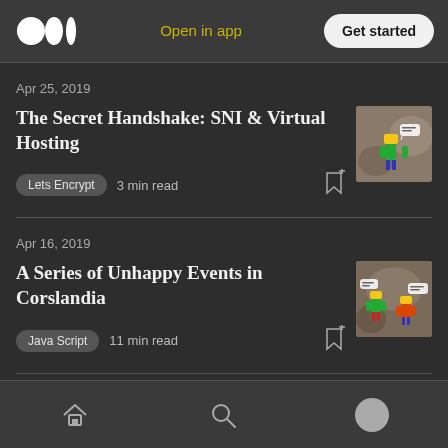Medium logo | Open in app | Get started
Apr 25, 2019
The Secret Handshake: SNI & Virtual Hosting
Lets Encrypt   3 min read
[Figure (photo): Lego figure thumbnail for The Secret Handshake article]
Apr 16, 2019
A Series of Unhappy Events in Corslandia
Java Script   11 min read
[Figure (photo): Lego figures thumbnail for A Series of Unhappy Events in Corslandia article]
Home | Search | Profile